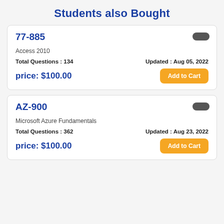Students also Bought
77-885
Access 2010
Total Questions : 134
Updated : Aug 05, 2022
price: $100.00
AZ-900
Microsoft Azure Fundamentals
Total Questions : 362
Updated : Aug 23, 2022
price: $100.00